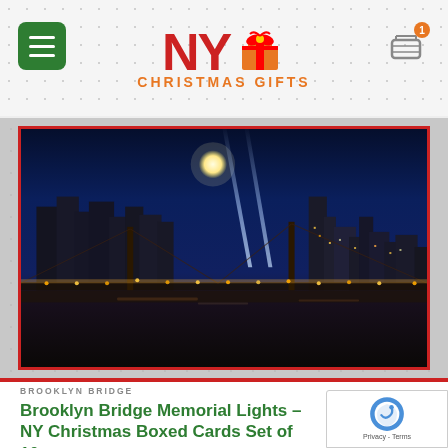NY Christmas Gifts - header with hamburger menu, logo, and cart
[Figure (photo): Night photograph of the Brooklyn Bridge with the Tribute in Light memorial beams rising into the sky above the New York City skyline, full moon visible, city lights reflecting on the water below. Image has a red border frame, displayed on a snowflake-patterned background.]
BROOKLYN BRIDGE
Brooklyn Bridge Memorial Lights – NY Christmas Boxed Cards Set of 10